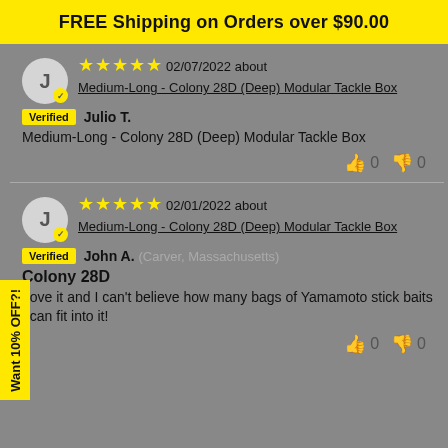FREE Shipping on Orders over $90.00
02/07/2022 about Medium-Long - Colony 28D (Deep) Modular Tackle Box — Verified — Julio T. — Medium-Long - Colony 28D (Deep) Modular Tackle Box — 0 👍 0 👎
02/01/2022 about Medium-Long - Colony 28D (Deep) Modular Tackle Box — Verified — John A. (Carver, Massachusetts) — Colony 28D — Love it and I can't believe how many bags of Yamamoto stick baits I can fit into it! — 0 👍 0 👎